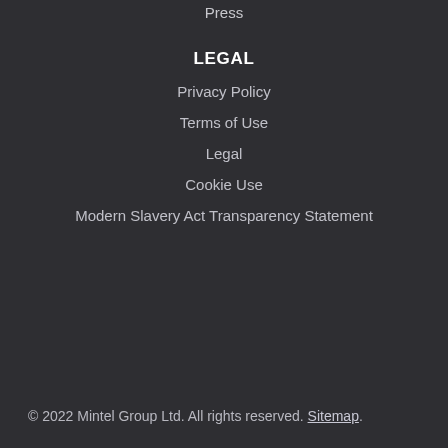Press
LEGAL
Privacy Policy
Terms of Use
Legal
Cookie Use
Modern Slavery Act Transparency Statement
© 2022 Mintel Group Ltd. All rights reserved. Sitemap.